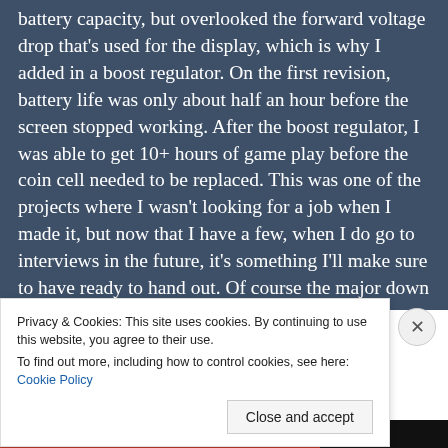battery capacity, but overlooked the forward voltage drop that's used for the display, which is why I added in a boost regulator. On the first revision, battery life was only about half an hour before the screen stopped working. After the boost regulator, I was able to get 10+ hours of game play before the coin cell needed to be replaced. This was one of the projects where I wasn't looking for a job when I made it, but now that I have a few, when I do go to interviews in the future, it's something I'll make sure to have ready to hand out. Of course the major down side to this business card is the cost. I
Privacy & Cookies: This site uses cookies. By continuing to use this website, you agree to their use.
To find out more, including how to control cookies, see here: Cookie Policy
Close and accept